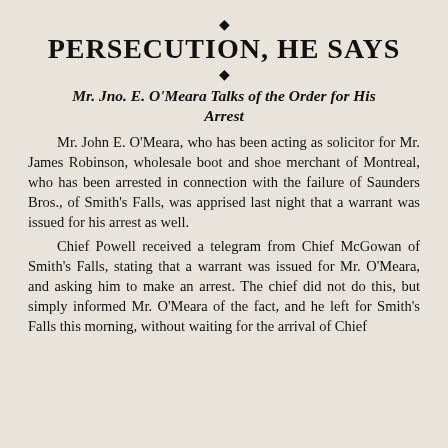PERSECUTION, HE SAYS
Mr. Jno. E. O'Meara Talks of the Order for His Arrest
Mr. John E. O'Meara, who has been acting as solicitor for Mr. James Robinson, wholesale boot and shoe merchant of Montreal, who has been arrested in connection with the failure of Saunders Bros., of Smith's Falls, was apprised last night that a warrant was issued for his arrest as well.
Chief Powell received a telegram from Chief McGowan of Smith's Falls, stating that a warrant was issued for Mr. O'Meara, and asking him to make an arrest. The chief did not do this, but simply informed Mr. O'Meara of the fact, and he left for Smith's Falls this morning, without waiting for the arrival of Chief